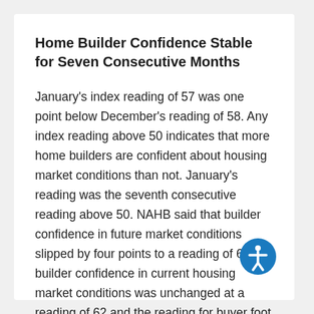Home Builder Confidence Stable for Seven Consecutive Months
January's index reading of 57 was one point below December's reading of 58. Any index reading above 50 indicates that more home builders are confident about housing market conditions than not. January's reading was the seventh consecutive reading above 50. NAHB said that builder confidence in future market conditions slipped by four points to a reading of 60; builder confidence in current housing market conditions was unchanged at a reading of 62 and the reading for buyer foot traffic fell two points for a January reading of 44.